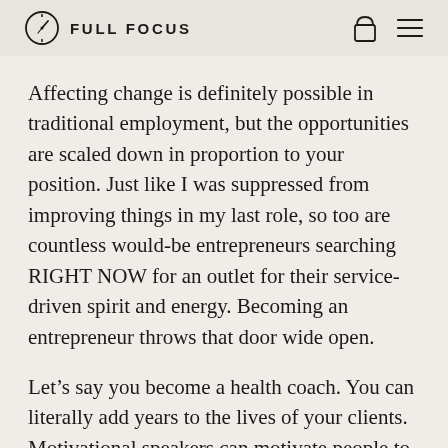FULL FOCUS
Affecting change is definitely possible in traditional employment, but the opportunities are scaled down in proportion to your position. Just like I was suppressed from improving things in my last role, so too are countless would-be entrepreneurs searching RIGHT NOW for an outlet for their service-driven spirit and energy. Becoming an entrepreneur throws that door wide open.
Let’s say you become a health coach. You can literally add years to the lives of your clients. Motivational speakers can motivate people to kick bad habits and